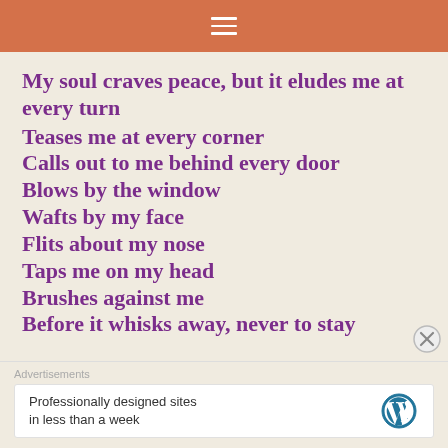≡
My soul craves peace, but it eludes me at every turn
Teases me at every corner
Calls out to me behind every door
Blows by the window
Wafts by my face
Flits about my nose
Taps me on my head
Brushes against me
Before it whisks away, never to stay
Advertisements
Professionally designed sites in less than a week